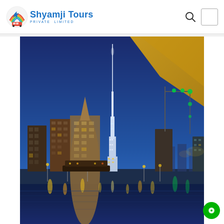Shyamji Tours PRIVATE LIMITED
[Figure (photo): Night cityscape of Dubai showing the Burj Khalifa illuminated against a deep blue sky, with surrounding skyscrapers, a waterfront with reflections of city lights, and a yellow overhead structure in the upper right corner. A construction crane with green lights is visible on the right side.]